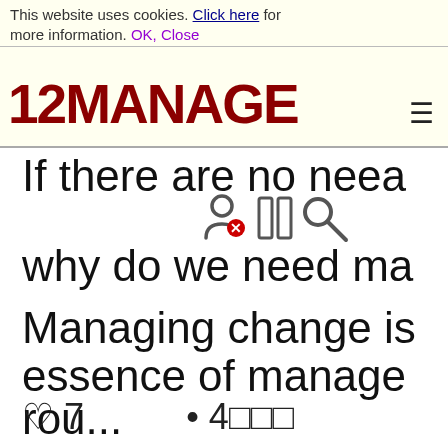This website uses cookies. Click here for more information. OK, Close
[Figure (logo): 12MANAGE logo in dark red/maroon bold text with hamburger menu icon]
If there are no neea...
why do we need ma...
Managing change is essence of manage...
rou...
♡ 7    ♡ 4□□□